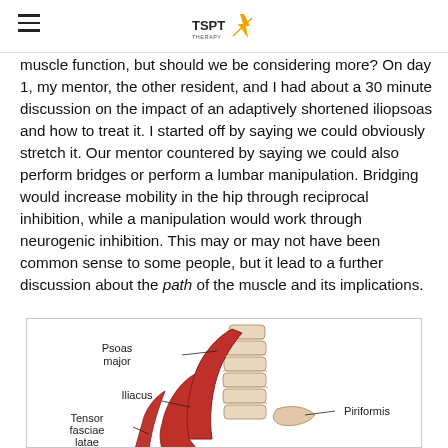TSPT logo and navigation
muscle function, but should we be considering more? On day 1, my mentor, the other resident, and I had about a 30 minute discussion on the impact of an adaptively shortened iliopsoas and how to treat it. I started off by saying we could obviously stretch it. Our mentor countered by saying we could also perform bridges or perform a lumbar manipulation. Bridging would increase mobility in the hip through reciprocal inhibition, while a manipulation would work through neurogenic inhibition. This may or may not have been common sense to some people, but it lead to a further discussion about the path of the muscle and its implications.
[Figure (illustration): Anatomical illustration of hip muscles labeled: Psoas major, Iliacus, Tensor fasciae latae, Piriformis. Shows vertebral column and surrounding musculature in red and tan tones.]